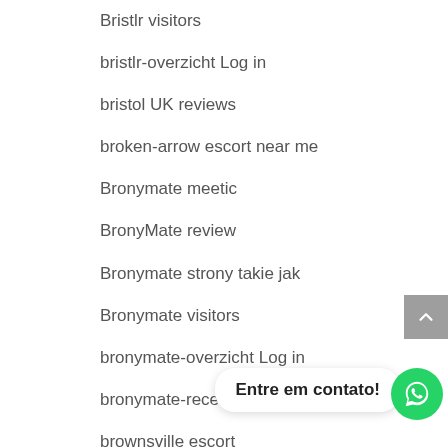Bristlr visitors
bristlr-overzicht Log in
bristol UK reviews
broken-arrow escort near me
Bronymate meetic
BronyMate review
Bronymate strony takie jak
Bronymate visitors
bronymate-overzicht Log in
bronymate-recenze Seznamka
brownsville escort
Buddhist Datin
Buddhist Dating username